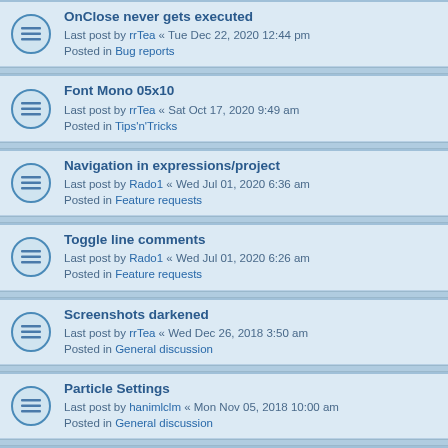OnClose never gets executed
Last post by rrTea « Tue Dec 22, 2020 12:44 pm
Posted in Bug reports
Font Mono 05x10
Last post by rrTea « Sat Oct 17, 2020 9:49 am
Posted in Tips'n'Tricks
Navigation in expressions/project
Last post by Rado1 « Wed Jul 01, 2020 6:36 am
Posted in Feature requests
Toggle line comments
Last post by Rado1 « Wed Jul 01, 2020 6:26 am
Posted in Feature requests
Screenshots darkened
Last post by rrTea « Wed Dec 26, 2018 3:50 am
Posted in General discussion
Particle Settings
Last post by hanimlclm « Mon Nov 05, 2018 10:00 am
Posted in General discussion
Questions (not requests)
Last post by berserkivix « Mon Jul 30, 2018 7:43 am
Posted in General discussion
FPP Tech Demo
Last post by Fate-- « Sun Mar 18, 2018 12:10 pm
Posted in Your projects
Console orientation on vertical monitors
Last post by rrTea « Sat Jan 06, 2018 12:27 pm